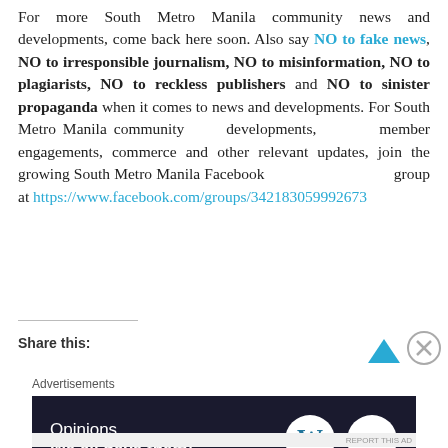For more South Metro Manila community news and developments, come back here soon. Also say NO to fake news, NO to irresponsible journalism, NO to misinformation, NO to plagiarists, NO to reckless publishers and NO to sinister propaganda when it comes to news and developments. For South Metro Manila community developments, member engagements, commerce and other relevant updates, join the growing South Metro Manila Facebook group at https://www.facebook.com/groups/342183059992673
Share this:
[Figure (screenshot): Advertisement banner: 'Opinions. We all have them!' with WordPress and Blog Meets Brand logos on dark navy background]